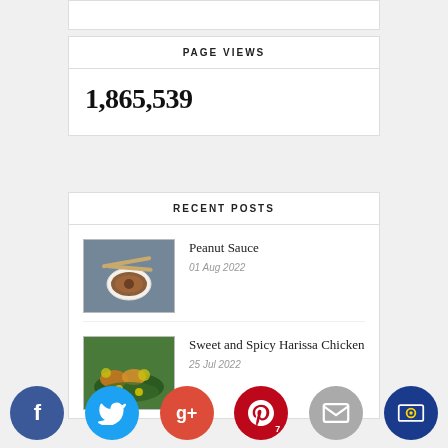PAGE VIEWS
1,865,539
RECENT POSTS
Peanut Sauce
01 Aug 2022
Sweet and Spicy Harissa Chicken
25 Jul 2022